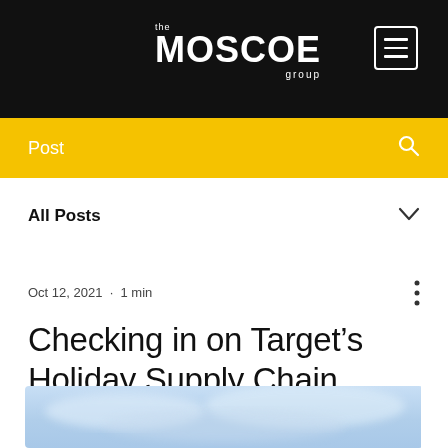the MOSCOE group
Post
All Posts
Oct 12, 2021  ·  1 min
Checking in on Target's Holiday Supply Chain Strategy
[Figure (photo): Blurred/soft-focus blue-toned image at the bottom of the page]